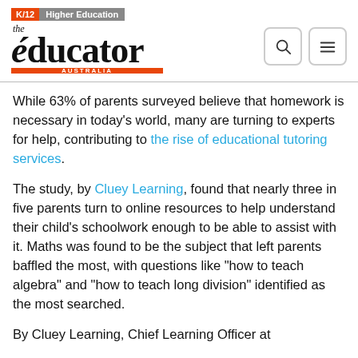K/12 | Higher Education — the educator AUSTRALIA
While 63% of parents surveyed believe that homework is necessary in today's world, many are turning to experts for help, contributing to the rise of educational tutoring services.
The study, by Cluey Learning, found that nearly three in five parents turn to online resources to help understand their child's schoolwork enough to be able to assist with it. Maths was found to be the subject that left parents baffled the most, with questions like "how to teach algebra" and "how to teach long division" identified as the most searched.
By Cluey Learning, Chief Learning Officer at...